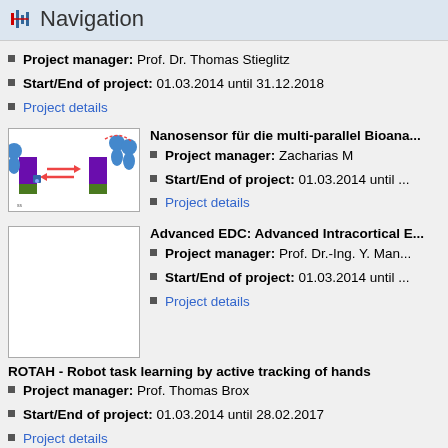Navigation
Project manager: Prof. Dr. Thomas Stieglitz
Start/End of project: 01.03.2014 until 31.12.2018
Project details
[Figure (illustration): Illustration showing nano-biosensor molecular interaction diagram with blue molecule figures and purple rectangular elements]
Nanosensor für die multi-parallel Bioana...
Project manager: Zacharias M
Start/End of project: 01.03.2014 until ...
Project details
[Figure (photo): Empty white image placeholder for Advanced EDC project]
Advanced EDC: Advanced Intracortical E...
Project manager: Prof. Dr.-Ing. Y. Man...
Start/End of project: 01.03.2014 until ...
Project details
ROTAH - Robot task learning by active tracking of hands
Project manager: Prof. Thomas Brox
Start/End of project: 01.03.2014 until 28.02.2017
Project details